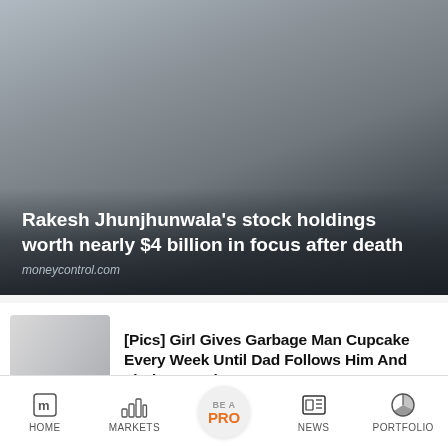[Figure (photo): Hero image with dark gradient overlay showing a financial news article thumbnail]
Rakesh Jhunjhunwala's stock holdings worth nearly $4 billion in focus after death
moneycontrol.com
[Figure (photo): Thumbnail image for cupcake story article]
[Pics] Girl Gives Garbage Man Cupcake Every Week Until Dad Follows Him And Finds Out Why
HealthyGem
HOME  MARKETS  BE A PRO  NEWS  PORTFOLIO